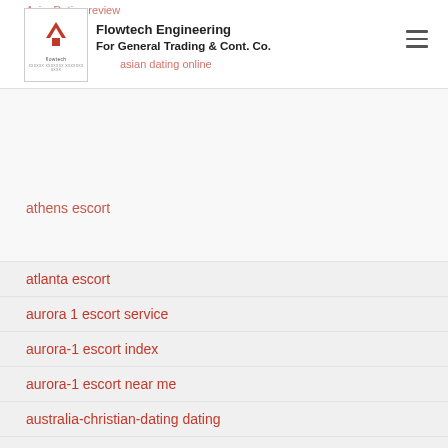Flowtech Engineering For General Trading & Cont. Co.
AsianDating review
asian dating online
athens escort
atlanta escort
aurora 1 escort service
aurora-1 escort index
aurora-1 escort near me
australia-christian-dating dating
auto title loans
azerbaijan-dating reviews
Babel review
bad credit installment loans online direct lenders
bad credit loans
bad credit loans near me